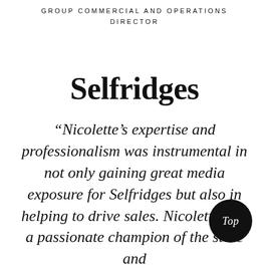GROUP COMMERCIAL AND OPERATIONS
DIRECTOR
Selfridges
“Nicolette’s expertise and professionalism was instrumental in not only gaining great media exposure for Selfridges but also in helping to drive sales. Nicolette was a passionate champion of the store and
[Figure (other): Black circular badge with white italic text reading ‘Top’]